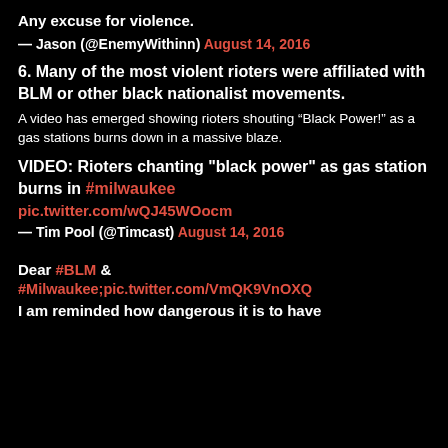Any excuse for violence.
— Jason (@EnemyWithinn) August 14, 2016
6. Many of the most violent rioters were affiliated with BLM or other black nationalist movements.
A video has emerged showing rioters shouting “Black Power!” as a gas stations burns down in a massive blaze.
VIDEO: Rioters chanting "black power" as gas station burns in #milwaukee pic.twitter.com/wQJ45WOocm
— Tim Pool (@Timcast) August 14, 2016
Dear #BLM & #Milwaukee;pic.twitter.com/VmQK9VnOXQ
I am reminded how dangerous it is to have